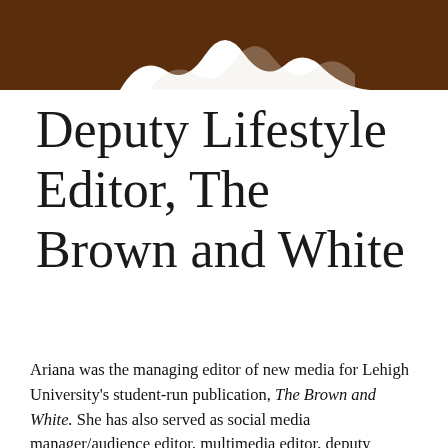[Figure (photo): Partial image with brown/chocolate background showing what appears to be the top portion of a logo or graphic element with white shapes against dark brown.]
Deputy Lifestyle Editor, The Brown and White
Ariana was the managing editor of new media for Lehigh University's student-run publication, The Brown and White. She has also served as social media manager/audience editor, multimedia editor, deputy lifestyle editor, associate lifestyle editor, assistant lifestyle editor, lifestyle reporter and news